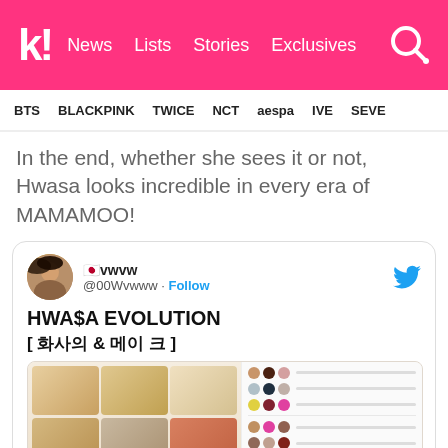k! News Lists Stories Exclusives
BTS BLACKPINK TWICE NCT aespa IVE SEVE
In the end, whether she sees it or not, Hwasa looks incredible in every era of MAMAMOO!
[Figure (screenshot): Embedded tweet from user â¿vwvw (@00Wvwww) with Follow button and Twitter bird icon. Tweet text reads: HWA$A EVOLUTION [ â³â¶â³â´ & â¶â´ â² ]. Below the text is an image grid showing illustrated portraits of Hwasa with different hairstyles and color palette swatches.]